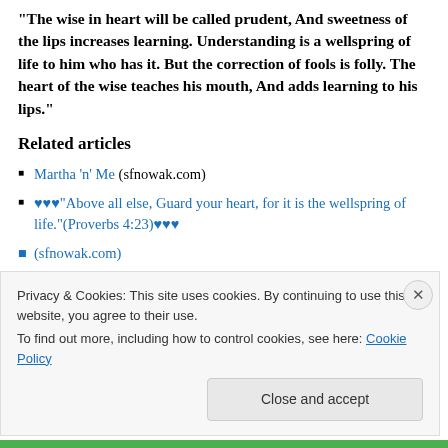“The wise in heart will be called prudent, And sweetness of the lips increases learning. Understanding is a wellspring of life to him who has it. But the correction of fools is folly. The heart of the wise teaches his mouth, And adds learning to his lips.”
Related articles
Martha ‘n’ Me (sfnowak.com)
♥♥♥“Above all else, Guard your heart, for it is the wellspring of life.”(Proverbs 4:23)♥♥♥
Privacy & Cookies: This site uses cookies. By continuing to use this website, you agree to their use.
To find out more, including how to control cookies, see here: Cookie Policy